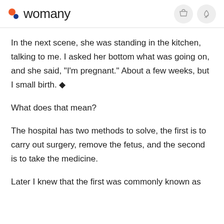womany
In the next scene, she was standing in the kitchen, talking to me. I asked her bottom what was going on, and she said, "I'm pregnant." About a few weeks, but I small birth. 🌱
What does that mean?
The hospital has two methods to solve, the first is to carry out surgery, remove the fetus, and the second is to take the medicine.
Later I knew that the first was commonly known as